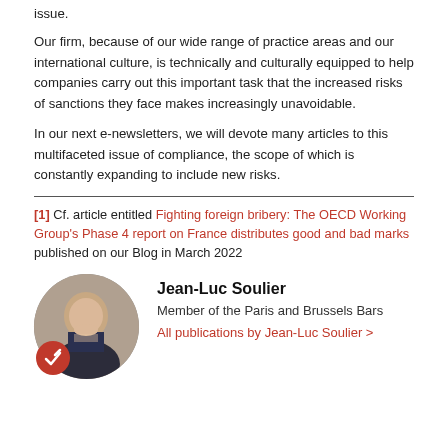issue.
Our firm, because of our wide range of practice areas and our international culture, is technically and culturally equipped to help companies carry out this important task that the increased risks of sanctions they face makes increasingly unavoidable.
In our next e-newsletters, we will devote many articles to this multifaceted issue of compliance, the scope of which is constantly expanding to include new risks.
[1] Cf. article entitled Fighting foreign bribery: The OECD Working Group’s Phase 4 report on France distributes good and bad marks published on our Blog in March 2022
Jean-Luc Soulier
Member of the Paris and Brussels Bars
All publications by Jean-Luc Soulier >